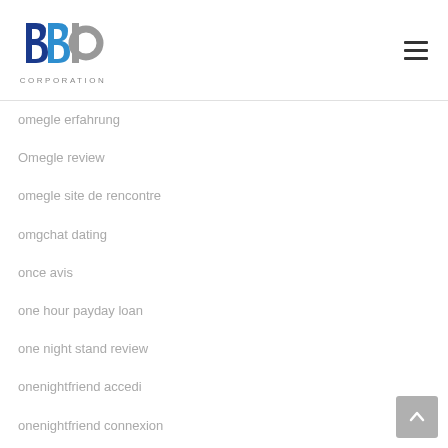[Figure (logo): BBP Corporation logo with blue and grey letterforms and CORPORATION text below]
omegle erfahrung
Omegle review
omegle site de rencontre
omgchat dating
once avis
one hour payday loan
one night stand review
onenightfriend accedi
onenightfriend connexion
onenightfriend pc